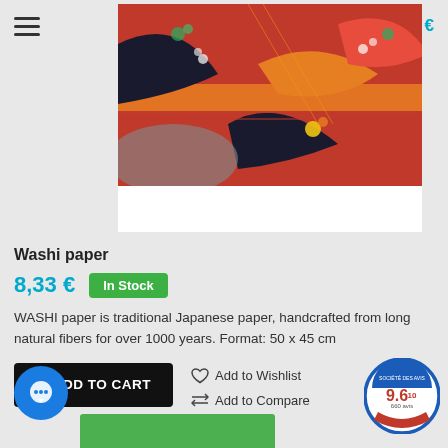[Figure (screenshot): E-commerce product page for Washi paper. Shows a product image of colorful Japanese washi paper with traditional fan patterns in red, orange, black, and blue. Page has navigation hamburger menu, cart icon showing 0,00€, product title, price, stock status, description, add to cart button, wishlist and compare links, chat bubble, and a review score badge showing 9.6/10 with 660 reviews.]
Washi paper
8,33 €   In Stock
WASHI paper is traditional Japanese paper, handcrafted from long natural fibers for over 1000 years. Format: 50 x 45 cm